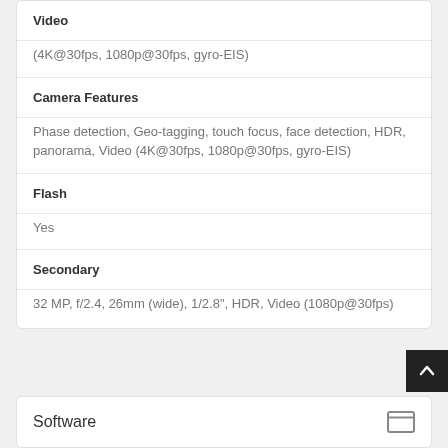| Video | (4K@30fps, 1080p@30fps, gyro-EIS) |
| Camera Features | Phase detection, Geo-tagging, touch focus, face detection, HDR, panorama, Video (4K@30fps, 1080p@30fps, gyro-EIS) |
| Flash | Yes |
| Secondary | 32 MP, f/2.4, 26mm (wide), 1/2.8", HDR, Video (1080p@30fps) |
Software